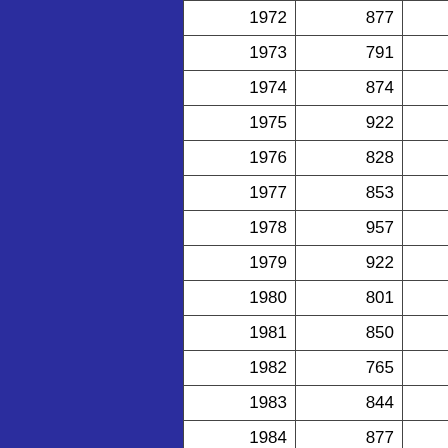| 1972 | 877 |  |
| 1973 | 791 |  |
| 1974 | 874 |  |
| 1975 | 922 |  |
| 1976 | 828 |  |
| 1977 | 853 |  |
| 1978 | 957 |  |
| 1979 | 922 |  |
| 1980 | 801 |  |
| 1981 | 850 |  |
| 1982 | 765 |  |
| 1983 | 844 |  |
| 1984 | 877 |  |
| 1985 | 855 |  |
| 1986 | 849 |  |
| 1987 | 796 |  |